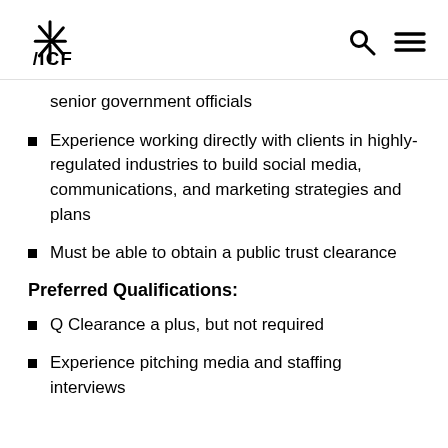ICF logo, search icon, menu icon
senior government officials
Experience working directly with clients in highly-regulated industries to build social media, communications, and marketing strategies and plans
Must be able to obtain a public trust clearance
Preferred Qualifications:
Q Clearance a plus, but not required
Experience pitching media and staffing interviews